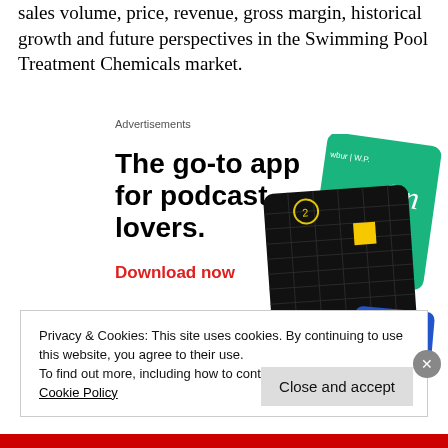sales volume, price, revenue, gross margin, historical growth and future perspectives in the Swimming Pool Treatment Chemicals market.
Advertisements
[Figure (infographic): Advertisement for a podcast app. Large bold text reads 'The go-to app for podcast lovers.' with a red 'Download now' link. On the right side are illustrated podcast app cards including '99% Invisible'.]
Privacy & Cookies: This site uses cookies. By continuing to use this website, you agree to their use.
To find out more, including how to control cookies, see here:
Cookie Policy
Close and accept